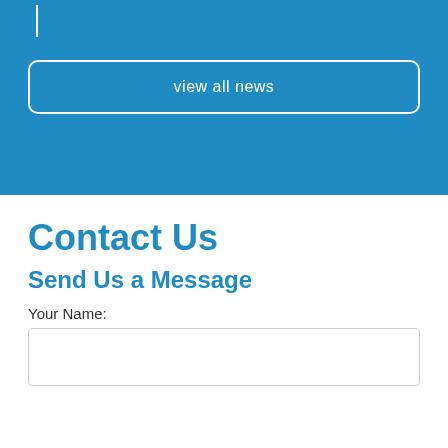[Figure (logo): Partial logo with vertical white bar visible at top of blue section]
view all news
Contact Us
Send Us a Message
Your Name: